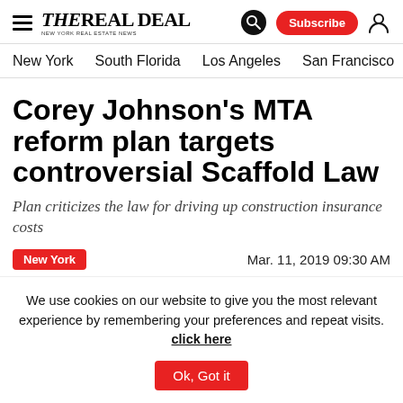The Real Deal — New York Real Estate News
New York | South Florida | Los Angeles | San Francisco | Chic ›
Corey Johnson's MTA reform plan targets controversial Scaffold Law
Plan criticizes the law for driving up construction insurance costs
New York | Mar. 11, 2019 09:30 AM
TRD Staff
We use cookies on our website to give you the most relevant experience by remembering your preferences and repeat visits. click here | Ok, Got it